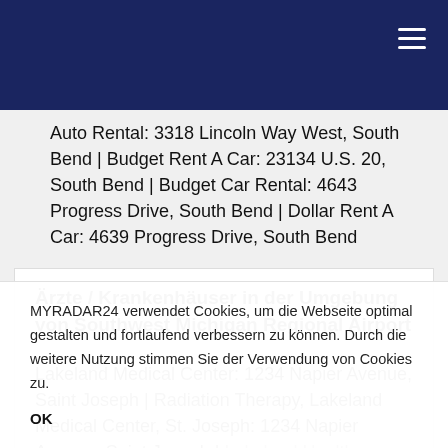Auto Rental: 3318 Lincoln Way West, South Bend | Budget Rent A Car: 23134 U.S. 20, South Bend | Budget Car Rental: 4643 Progress Drive, South Bend | Dollar Rent A Car: 4639 Progress Drive, South Bend
Ärzte / Krankenhäuser in der Umgebung von Southwest Michigan Regional Airport
Lakeland Medical Center: 1234 Napier Avenue, Saint Joseph | Radiation Therapy, Lakeland Medical Center, St. Joseph: 1234 Napier Avenue, Saint Joseph | Lakeland Healthcare New: Saint Joseph | Lakeland
MYRADAR24 verwendet Cookies, um die Webseite optimal gestalten und fortlaufend verbessern zu können. Durch die weitere Nutzung stimmen Sie der Verwendung von Cookies zu.
OK